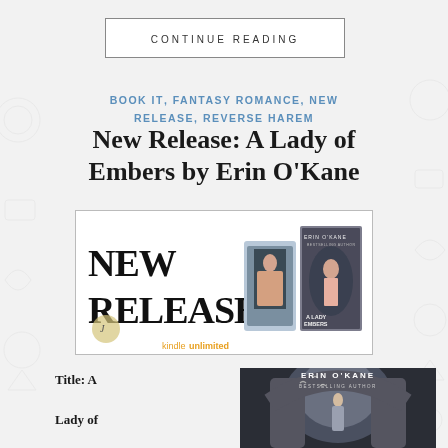CONTINUE READING
BOOK IT, FANTASY ROMANCE, NEW RELEASE, REVERSE HAREM
New Release: A Lady of Embers by Erin O'Kane
[Figure (photo): Promotional banner image for 'A Lady of Embers' showing NEW RELEASE text with book cover images and Kindle Unlimited logo]
Title: A Lady of Embers (Fires of
[Figure (photo): Book cover for 'A Lady of Embers' by Erin O'Kane, Bestselling Author, showing woman in stone archway]